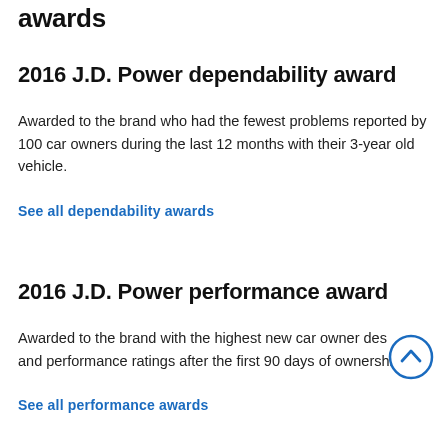awards
2016 J.D. Power dependability award
Awarded to the brand who had the fewest problems reported by 100 car owners during the last 12 months with their 3-year old vehicle.
See all dependability awards
2016 J.D. Power performance award
Awarded to the brand with the highest new car owner design and performance ratings after the first 90 days of ownership.
See all performance awards